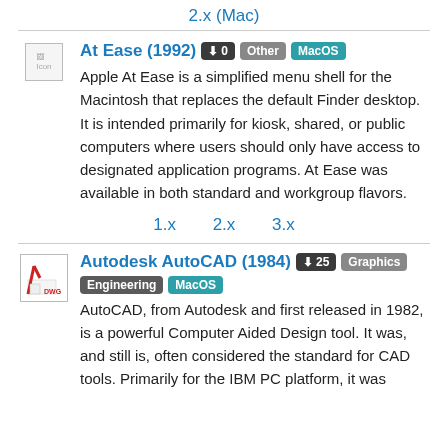2.x (Mac)
At Ease (1992)
Apple At Ease is a simplified menu shell for the Macintosh that replaces the default Finder desktop. It is intended primarily for kiosk, shared, or public computers where users should only have access to designated application programs. At Ease was available in both standard and workgroup flavors.
1.x   2.x   3.x
Autodesk AutoCAD (1984)
AutoCAD, from Autodesk and first released in 1982, is a powerful Computer Aided Design tool. It was, and still is, often considered the standard for CAD tools. Primarily for the IBM PC platform, it was